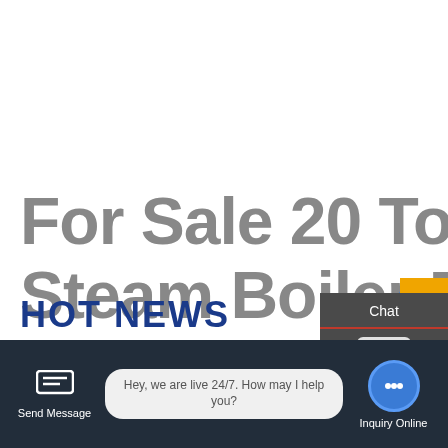For Sale 20 Ton Oil Steam Boiler Belarus
[Figure (screenshot): Sidebar with Chat, TOP button, and Email navigation items on dark grey background]
[Figure (screenshot): WhatsApp icon (green rounded square) and green Contact us now! button]
HOT NEWS
[Figure (screenshot): Bottom bar with Send Message icon, live chat bubble saying 'Hey, we are live 24/7. How may I help you?', and Inquiry Online button with blue chat icon]